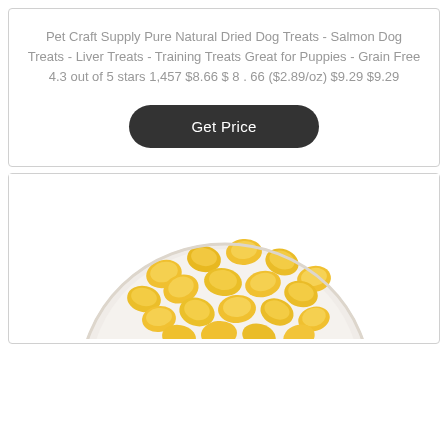Pet Craft Supply Pure Natural Dried Dog Treats - Salmon Dog Treats - Liver Treats - Training Treats Great for Puppies - Grain Free 4.3 out of 5 stars 1,457 $8.66 $ 8 . 66 ($2.89/oz) $9.29 $9.29
Get Price
[Figure (photo): A white bowl filled with small yellow/golden dog treat pieces, viewed from above, partially cropped at bottom of card.]